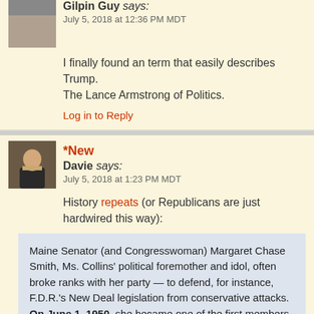Gilpin Guy says: July 5, 2018 at 12:36 PM MDT
I finally found an term that easily describes Trump. The Lance Armstrong of Politics.
Log in to Reply
*New
Davie says: July 5, 2018 at 1:23 PM MDT
History repeats (or Republicans are just hardwired this way):
Maine Senator (and Congresswoman) Margaret Chase Smith, Ms. Collins' political foremother and idol, often broke ranks with her party — to defend, for instance, F.D.R.'s New Deal legislation from conservative attacks. On June 1, 1950, she became one of the first members of Congress to denounce the anti-Communist witch hunt of